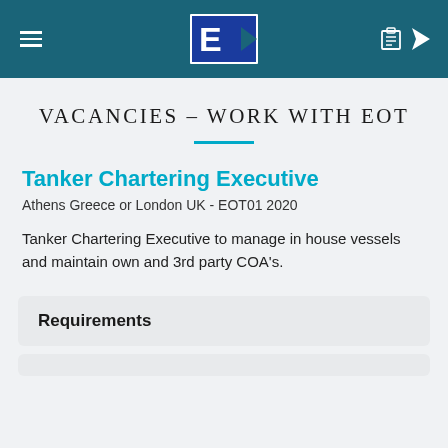EOT logo header with navigation
VACANCIES – WORK WITH EOT
Tanker Chartering Executive
Athens Greece or London UK - EOT01 2020
Tanker Chartering Executive to manage in house vessels and maintain own and 3rd party COA's.
Requirements